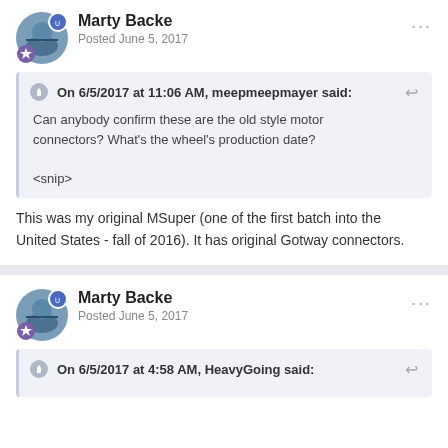Marty Backe
Posted June 5, 2017
On 6/5/2017 at 11:06 AM, meepmeepmayer said:
Can anybody confirm these are the old style motor connectors? What's the wheel's production date?
<snip>
This was my original MSuper (one of the first batch into the United States - fall of 2016). It has original Gotway connectors.
Marty Backe
Posted June 5, 2017
On 6/5/2017 at 4:58 AM, HeavyGoing said: